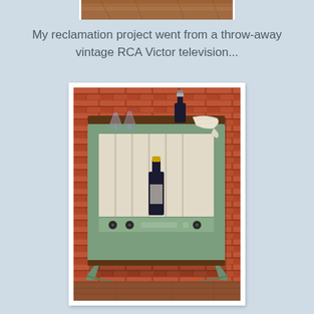[Figure (photo): Partial top portion of a vintage television set, cropped at top of page]
My reclamation project went from a throw-away vintage RCA Victor television...
[Figure (photo): Photo of a vintage RCA Victor television cabinet converted into a bar/liquor cabinet. The cabinet is painted sage green with a brown wood top. The screen area has been replaced with a white beadboard back panel and holds a dark wine/champagne bottle inside. The top of the cabinet has two goblet glasses and a tall dark bottle. A white cloth is draped over one corner. The cabinet sits against a red brick wall on a wooden floor.]